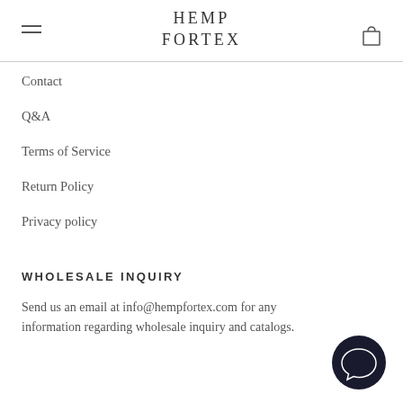HEMP FORTEX
Contact
Q&A
Terms of Service
Return Policy
Privacy policy
WHOLESALE INQUIRY
Send us an email at info@hempfortex.com for any information regarding wholesale inquiry and catalogs.
[Figure (other): Chat bubble / messenger icon in bottom right corner]